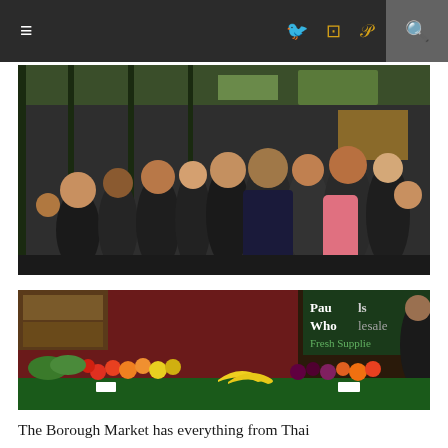Navigation bar with hamburger menu, Twitter, Instagram, Pinterest icons, and search
[Figure (photo): Crowded indoor market scene with people browsing stalls, green metal framework visible overhead, signs and produce stalls in background]
[Figure (photo): Borough Market fruit and vegetable stall with colorful produce including apples, oranges, bananas, grapes; vendors and shoppers visible; Paul's Wholefood Supplies sign in background]
The Borough Market has everything from Thai